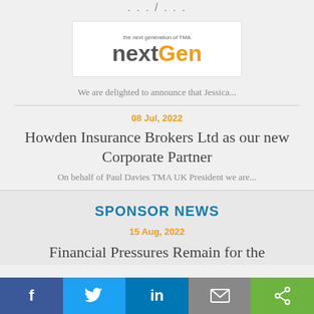...
[Figure (logo): nextGen logo — 'the next generation of TMA' tagline above, 'next' in dark grey and 'Gen' in orange, large text on white background]
We are delighted to announce that Jessica...
08 Jul, 2022
Howden Insurance Brokers Ltd as our new Corporate Partner
On behalf of Paul Davies TMA UK President we are...
SPONSOR NEWS
15 Aug, 2022
Financial Pressures Remain for the
f  Twitter  in  email  share